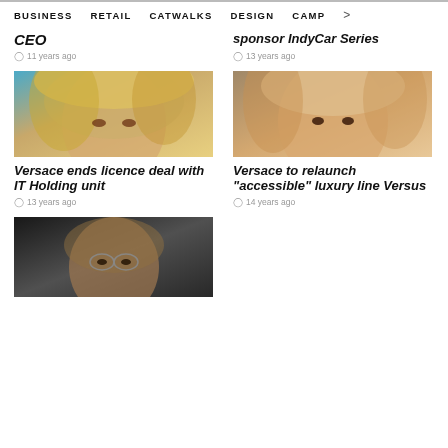BUSINESS   RETAIL   CATWALKS   DESIGN   CAMP >
CEO
11 years ago
sponsor IndyCar Series
13 years ago
[Figure (photo): Blonde female model with wind-blown hair against blue background]
[Figure (photo): Blonde woman with heavy makeup, close-up portrait]
Versace ends licence deal with IT Holding unit
13 years ago
Versace to relaunch "accessible" luxury line Versus
14 years ago
[Figure (photo): Older man with glasses, dark background, close-up portrait]